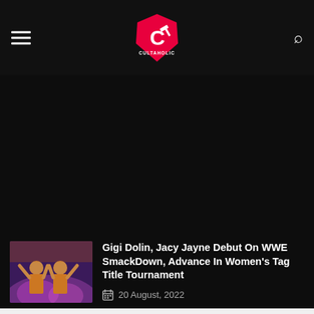Cultaholic
[Figure (photo): Two wrestlers (Gigi Dolin and Jacy Jayne) posing in ring gear with smoke effects]
Gigi Dolin, Jacy Jayne Debut On WWE SmackDown, Advance In Women's Tag Title Tournament
20 August, 2022